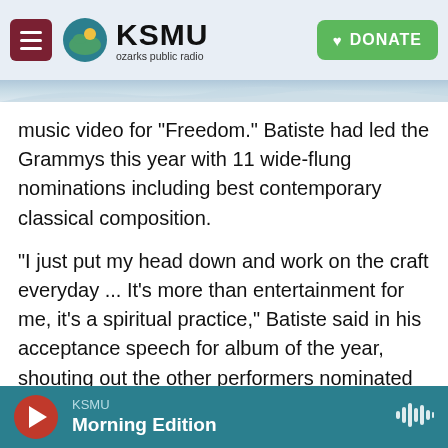KSMU ozarks public radio | DONATE
music video for "Freedom." Batiste had led the Grammys this year with 11 wide-flung nominations including best contemporary classical composition.
"I just put my head down and work on the craft everyday ... It's more than entertainment for me, it's a spiritual practice," Batiste said in his acceptance speech for album of the year, shouting out the other performers nominated in the category. "Be you, that's it." He also stressed that there are no "best" artists or albums, rather that "it's like a song or an album is made and it almost has a radar to find a person when they need it the most."
KSMU Morning Edition